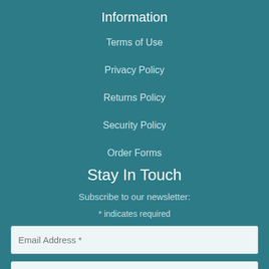Information
Terms of Use
Privacy Policy
Returns Policy
Security Policy
Order Forms
Stay In Touch
Subscribe to our newsletter:
* indicates required
Email Address *
First Name *
Company Name *